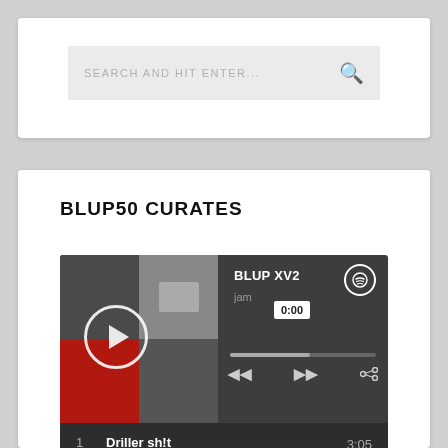SEARCH AND HIT ENTER...
BLUP50 CURATES
[Figure (screenshot): Spotify embedded playlist player showing BLUP XV2 playlist with track listing. Currently playing at 0:00. Track list: 1. Driller sh!t – Unknown T (3:05), 2. New Level (feat. Future) – A$AP Ferg, Future (4:27), 3. DNA. (3:05)]